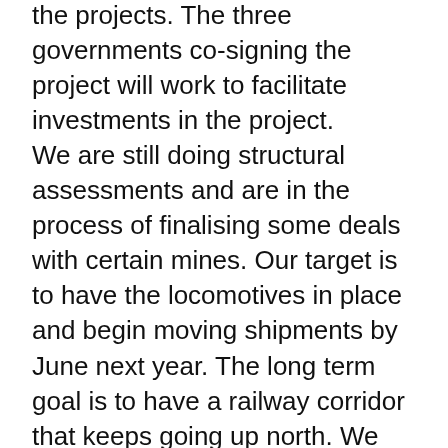the projects. The three governments co-signing the project will work to facilitate investments in the project.
We are still doing structural assessments and are in the process of finalising some deals with certain mines. Our target is to have the locomotives in place and begin moving shipments by June next year. The long term goal is to have a railway corridor that keeps going up north. We can have an “AfCFTA” agreement in place, but if we don’t have the means to move goods affordably from Egypt to Capetown, or from Durban to Mombasa,